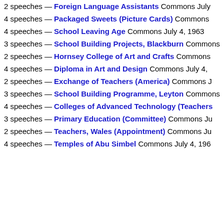2 speeches — Foreign Language Assistants Commons July
4 speeches — Packaged Sweets (Picture Cards) Commons
4 speeches — School Leaving Age Commons July 4, 1963
3 speeches — School Building Projects, Blackburn Commons
2 speeches — Hornsey College of Art and Crafts Commons
4 speeches — Diploma in Art and Design Commons July 4,
2 speeches — Exchange of Teachers (America) Commons J
3 speeches — School Building Programme, Leyton Commons
4 speeches — Colleges of Advanced Technology (Teachers
3 speeches — Primary Education (Committee) Commons Ju
2 speeches — Teachers, Wales (Appointment) Commons Ju
4 speeches — Temples of Abu Simbel Commons July 4, 196